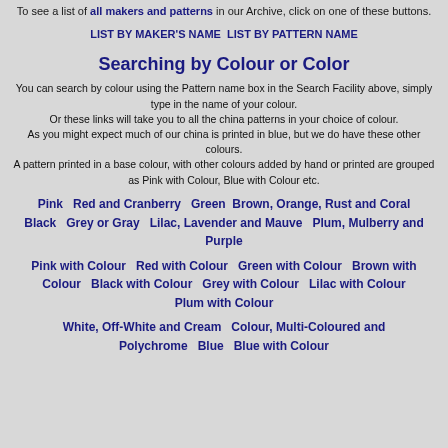To see a list of all makers and patterns in our Archive, click on one of these buttons.
LIST BY MAKER'S NAME  LIST BY PATTERN NAME
Searching by Colour or Color
You can search by colour using the Pattern name box in the Search Facility above, simply type in the name of your colour.
Or these links will take you to all the china patterns in your choice of colour.
As you might expect much of our china is printed in blue, but we do have these other colours.
A pattern printed in a base colour, with other colours added by hand or printed are grouped as Pink with Colour, Blue with Colour etc.
Pink   Red and Cranberry   Green  Brown, Orange, Rust and Coral  Black   Grey or Gray   Lilac, Lavender and Mauve   Plum, Mulberry and Purple
Pink with Colour   Red with Colour   Green with Colour   Brown with Colour   Black with Colour   Grey with Colour   Lilac with Colour   Plum with Colour
White, Off-White and Cream   Colour, Multi-Coloured and Polychrome   Blue   Blue with Colour